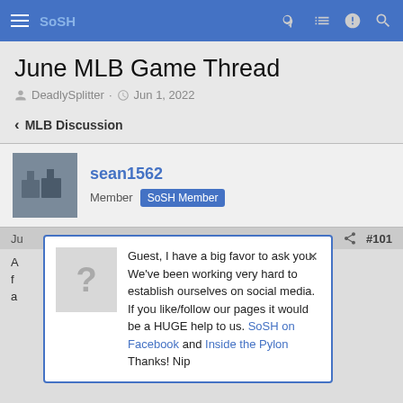SoSH (navigation bar)
June MLB Game Thread
DeadlySplitter · Jun 1, 2022
< MLB Discussion
sean1562
Member SoSH Member
Guest, I have a big favor to ask you. We've been working very hard to establish ourselves on social media. If you like/follow our pages it would be a HUGE help to us. SoSH on Facebook and Inside the Pylon Thanks! Nip
#101 ... ne 10-22 with 5 HR ... HR last night
Member SoSH Member